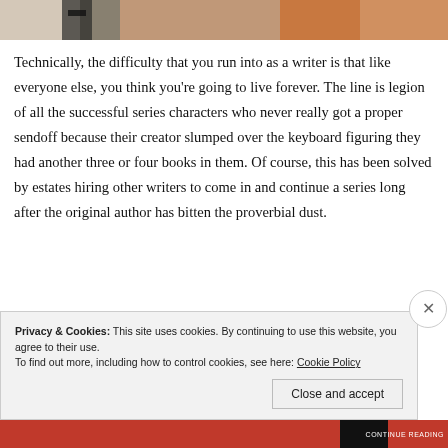[Figure (photo): Partial photo strip showing a person with dark clothing and reddish-brown elements, cropped at top of page]
Technically, the difficulty that you run into as a writer is that like everyone else, you think you're going to live forever. The line is legion of all the successful series characters who never really got a proper sendoff because their creator slumped over the keyboard figuring they had another three or four books in them. Of course, this has been solved by estates hiring other writers to come in and continue a series long after the original author has bitten the proverbial dust.
Privacy & Cookies: This site uses cookies. By continuing to use this website, you agree to their use.
To find out more, including how to control cookies, see here: Cookie Policy